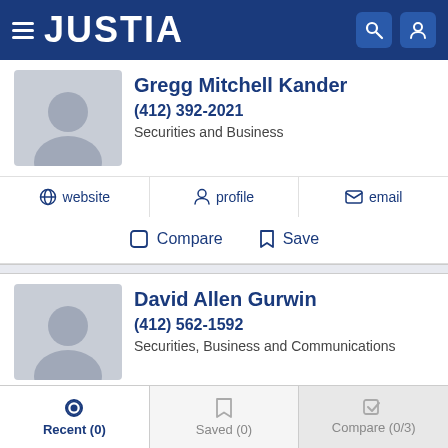JUSTIA
Gregg Mitchell Kander
(412) 392-2021
Securities and Business
website | profile | email
Compare | Save
David Allen Gurwin
(412) 562-1592
Securities, Business and Communications
website | profile | email
Compare | Save
Recent (0) | Saved (0) | Compare (0/3)